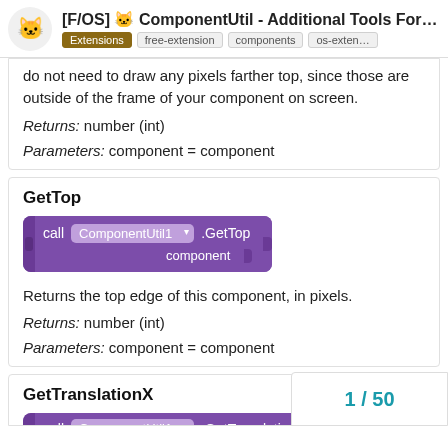[F/OS] 🐱 ComponentUtil - Additional Tools For Vi... Extensions free-extension components os-exten...
do not need to draw any pixels farther top, since those are outside of the frame of your component on screen.
Returns: number (int)
Parameters: component = component
GetTop
[Figure (screenshot): Purple block code: call ComponentUtil1 .GetTop component]
Returns the top edge of this component, in pixels.
Returns: number (int)
Parameters: component = component
GetTranslationX
[Figure (screenshot): Purple block code: call ComponentUtil1 .GetTranslatio...]
1 / 50